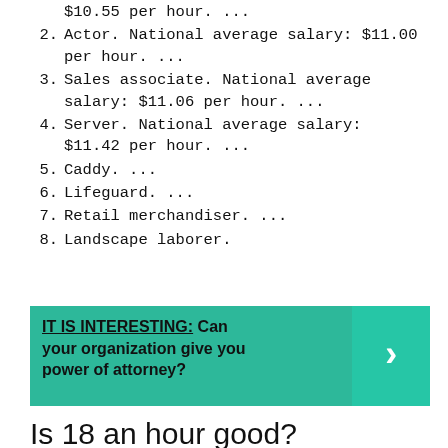$10.55 per hour. ...
2. Actor. National average salary: $11.00 per hour. ...
3. Sales associate. National average salary: $11.06 per hour. ...
4. Server. National average salary: $11.42 per hour. ...
5. Caddy. ...
6. Lifeguard. ...
7. Retail merchandiser. ...
8. Landscape laborer.
IT IS INTERESTING: Can your organization give you power of attorney?
Is 18 an hour good?